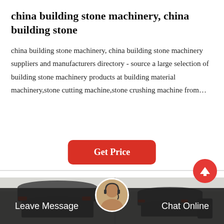china building stone machinery, china building stone
china building stone machinery, china building stone machinery suppliers and manufacturers directory - source a large selection of building stone machinery products at building material machinery,stone cutting machine,stone crushing machine from…
Get Price
[Figure (photo): Industrial stone crushing machines in a factory setting, showing large gray cylindrical cone crushers with red accents, inside a warehouse with metal roof structure.]
Leave Message
Chat Online